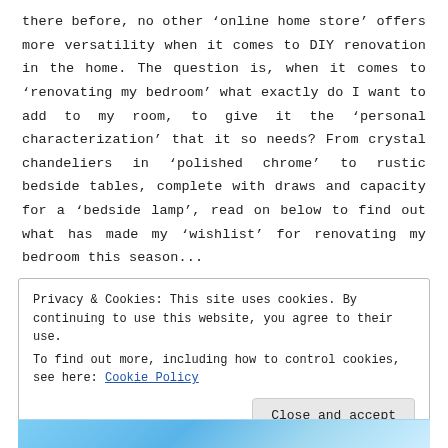there before, no other 'online home store' offers more versatility when it comes to DIY renovation in the home. The question is, when it comes to 'renovating my bedroom' what exactly do I want to add to my room, to give it the 'personal characterization' that it so needs? From crystal chandeliers in 'polished chrome' to rustic bedside tables, complete with draws and capacity for a 'bedside lamp', read on below to find out what has made my 'wishlist' for renovating my bedroom this season...
Privacy & Cookies: This site uses cookies. By continuing to use this website, you agree to their use.
To find out more, including how to control cookies, see here: Cookie Policy
[Figure (photo): Bottom strip of a photo, showing blue tones, partially visible at the bottom of the page.]